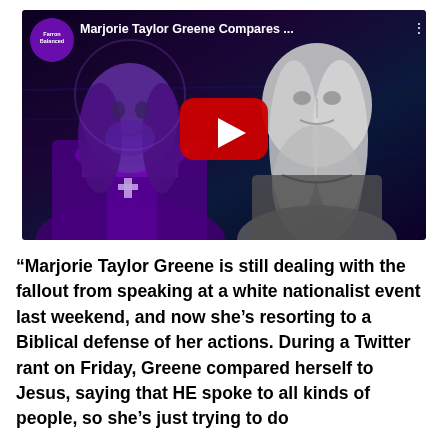[Figure (screenshot): YouTube video thumbnail showing a purple-toned illustration of Jesus on the left and a black-and-white photo of Marjorie Taylor Greene on the right, with a YouTube play button in the center. Channel logo 'Farron Balanced' in top left. Video title 'Marjorie Taylor Greene Compares...' at top.]
“Marjorie Taylor Greene is still dealing with the fallout from speaking at a white nationalist event last weekend, and now she’s resorting to a Biblical defense of her actions. During a Twitter rant on Friday, Greene compared herself to Jesus, saying that HE spoke to all kinds of people, so she’s just trying to do